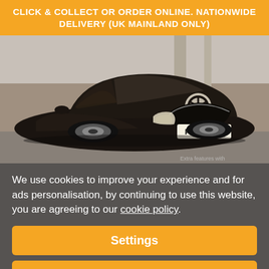CLICK & COLLECT OR ORDER ONLINE. NATIONWIDE DELIVERY (UK MAINLAND ONLY)
[Figure (photo): Dark coloured Mercedes-Benz E-Class coupe parked indoors, registration plate PY64 HHO, partial watermark text 'Extra features with' visible at bottom right]
We use cookies to improve your experience and for ads personalisation, by continuing to use this website, you are agreeing to our cookie policy.
Settings
Accept all